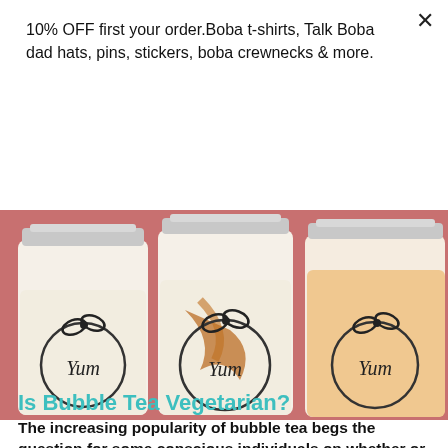10% OFF first your order.Boba t-shirts, Talk Boba dad hats, pins, stickers, boba crewnecks & more.
Submit email!
[Figure (photo): Three glass mason jars containing boba/bubble tea drinks in cream and orange colors, each labeled with a decorative 'Yum' sticker and a black bow, set against a pink background.]
Is Bubble Tea Vegetarian?
The increasing popularity of bubble tea begs the question for some conscious individuals on whether or not bubble tea is vegetarian, or vegan-friendly. Walking...